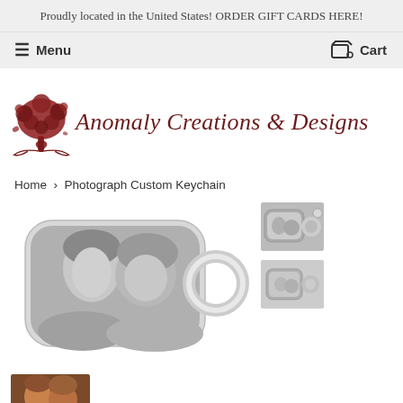Proudly located in the United States! ORDER GIFT CARDS HERE!
Menu   Cart
[Figure (logo): Anomaly Creations & Designs logo with decorative tree and cursive script text]
Home > Photograph Custom Keychain
[Figure (photo): Main product image: a rectangular custom keychain with a black and white photograph of two women, with a metal ring attached]
[Figure (photo): Thumbnail: small keychain product image, top view]
[Figure (photo): Thumbnail: small keychain product image, second angle]
[Figure (photo): Small bottom thumbnail of colored photo of two people]